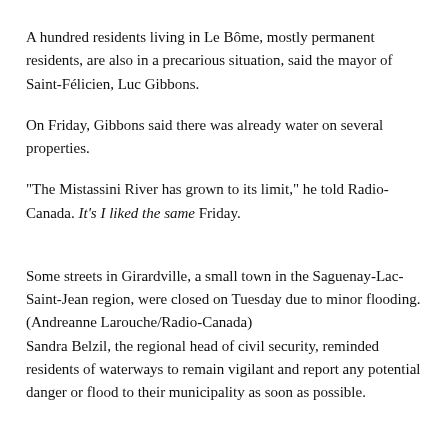A hundred residents living in Le Bôme, mostly permanent residents, are also in a precarious situation, said the mayor of Saint-Félicien, Luc Gibbons.
On Friday, Gibbons said there was already water on several properties.
“The Mistassini River has grown to its limit,” he told Radio-Canada. It’s I liked the same Friday.
Some streets in Girardville, a small town in the Saguenay-Lac-Saint-Jean region, were closed on Tuesday due to minor flooding. (Andreanne Larouche/Radio-Canada)
Sandra Belzil, the regional head of civil security, reminded residents of waterways to remain vigilant and report any potential danger or flood to their municipality as soon as possible.